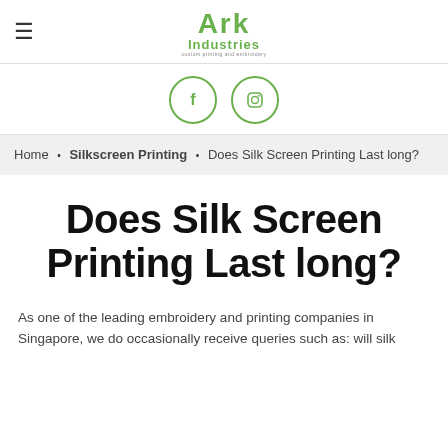Ark Industries — custom printing and embroidery
[Figure (logo): Ark Industries logo in green text with tagline 'custom printing and embroidery']
[Figure (infographic): Social media icons: Facebook (f) and Instagram, both circular with green outline]
Home • Silkscreen Printing • Does Silk Screen Printing Last long?
Does Silk Screen Printing Last long?
As one of the leading embroidery and printing companies in Singapore, we do occasionally receive queries such as: will silk